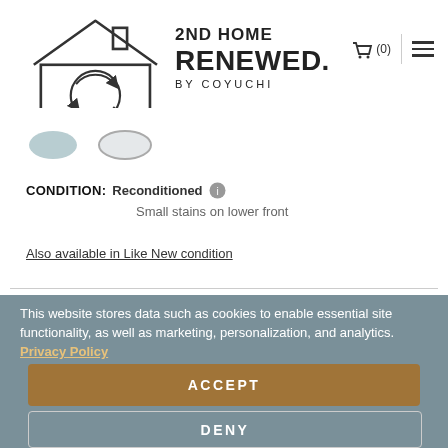[Figure (logo): 2ND HOME RENEWED BY COYUCHI logo with a house outline and circular arrows inside]
[Figure (illustration): Two color swatches — a muted blue-gray filled circle and a light gray circle with border]
CONDITION: Reconditioned  Small stains on lower front
Also available in Like New condition
This website stores data such as cookies to enable essential site functionality, as well as marketing, personalization, and analytics. Privacy Policy
ACCEPT
DENY